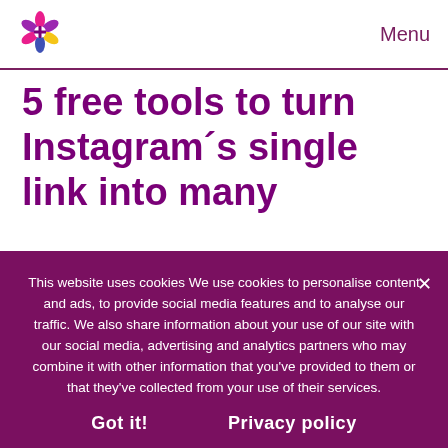Menu
5 free tools to turn Instagram´s single link into many
Instagram´s single link in the bio is immensely
This website uses cookies We use cookies to personalise content and ads, to provide social media features and to analyse our traffic. We also share information about your use of our site with our social media, advertising and analytics partners who may combine it with other information that you've provided to them or that they've collected from your use of their services. Got it! Privacy policy